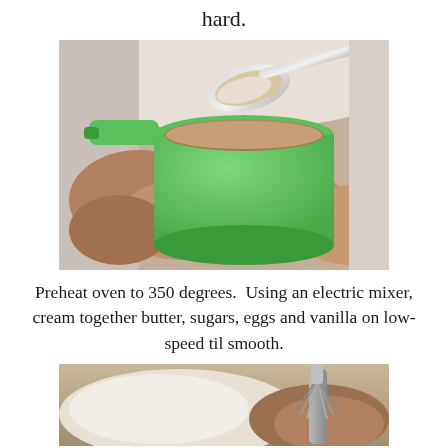hard.
[Figure (photo): A green measuring cup filled with brown sugar or flour, with a silver spoon resting on top, inside a white mixing bowl also containing loose brown sugar/flour mixture.]
Preheat oven to 350 degrees.  Using an electric mixer, cream together butter, sugars, eggs and vanilla on low-speed til smooth.
[Figure (photo): A close-up of a mixing bowl with flour and dry ingredients, with a whisk visible on the right side.]